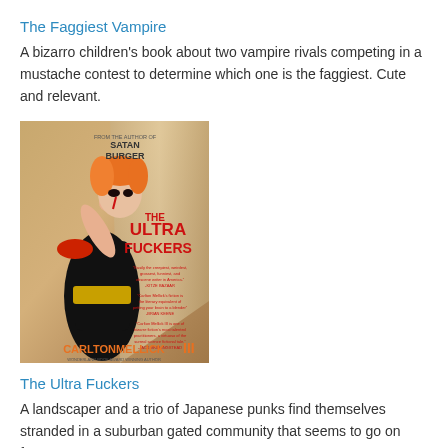The Faggiest Vampire
A bizarro children's book about two vampire rivals competing in a mustache contest to determine which one is the faggiest. Cute and relevant.
[Figure (photo): Book cover of 'The Ultra Fuckers' by Carlton Mellick III, showing a stylized female figure in black latex with orange decorative headpiece, red title text, and orange author name at bottom.]
The Ultra Fuckers
A landscaper and a trio of Japanese punks find themselves stranded in a suburban gated community that seems to go on forever.